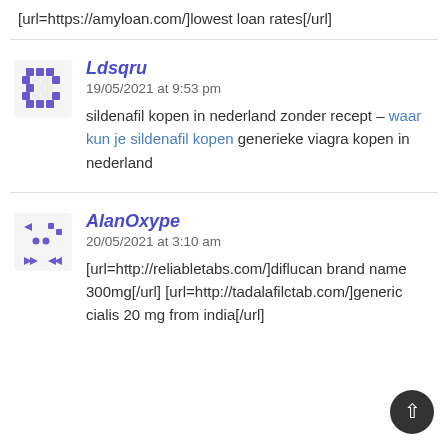[url=https://amyloan.com/]lowest loan rates[/url]
Ldsqru
19/05/2021 at 9:53 pm
sildenafil kopen in nederland zonder recept – waar kun je sildenafil kopen generieke viagra kopen in nederland
AlanOxype
20/05/2021 at 3:10 am
[url=http://reliabletabs.com/]diflucan brand name 300mg[/url] [url=http://tadalafilctab.com/]generic cialis 20 mg from india[/url]